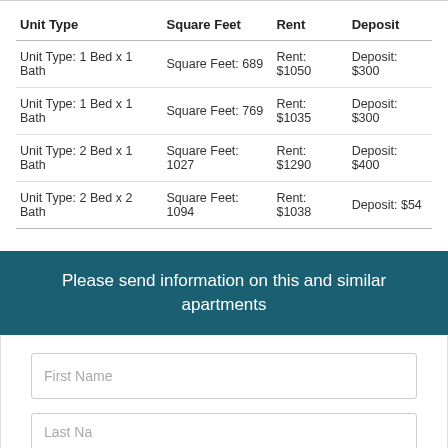| Unit Type | Square Feet | Rent | Deposit |
| --- | --- | --- | --- |
| Unit Type: 1 Bed x 1 Bath | Square Feet: 689 | Rent: $1050 | Deposit: $300 |
| Unit Type: 1 Bed x 1 Bath | Square Feet: 769 | Rent: $1035 | Deposit: $300 |
| Unit Type: 2 Bed x 1 Bath | Square Feet: 1027 | Rent: $1290 | Deposit: $400 |
| Unit Type: 2 Bed x 2 Bath | Square Feet: 1094 | Rent: $1038 | Deposit: $54 |
Please send information on this and similar apartments
First Name
Last Name